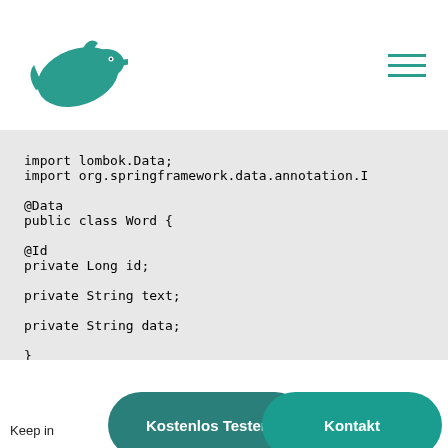Logo and navigation header
[Figure (screenshot): Java code snippet showing imports for lombok.Data and org.springframework.data.annotation, followed by a public class Word with @Data and @Id annotations, fields: private Long id; private String text; private String data;]
Keep in ... ing JPA
Kostenlos Testen
Kontakt